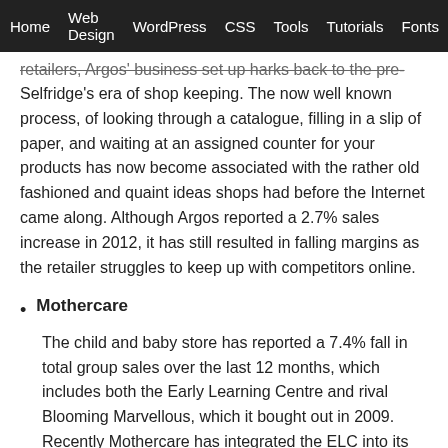Home  Web Design  WordPress  CSS  Tools  Tutorials  Fonts
retailers, Argos' business set up harks back to the pre-Selfridge's era of shop keeping. The now well known process, of looking through a catalogue, filling in a slip of paper, and waiting at an assigned counter for your products has now become associated with the rather old fashioned and quaint ideas shops had before the Internet came along. Although Argos reported a 2.7% sales increase in 2012, it has still resulted in falling margins as the retailer struggles to keep up with competitors online.
Mothercare
The child and baby store has reported a 7.4% fall in total group sales over the last 12 months, which includes both the Early Learning Centre and rival Blooming Marvellous, which it bought out in 2009. Recently Mothercare has integrated the ELC into its own stores in an effort to cut down on rental and stocking costs and has announced